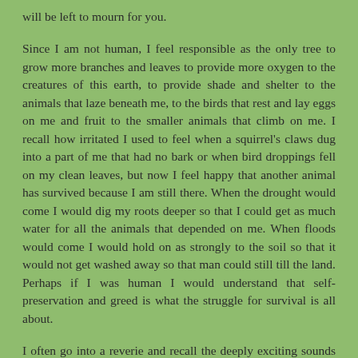will be left to mourn for you.
Since I am not human, I feel responsible as the only tree to grow more branches and leaves to provide more oxygen to the creatures of this earth, to provide shade and shelter to the animals that laze beneath me, to the birds that rest and lay eggs on me and fruit to the smaller animals that climb on me. I recall how irritated I used to feel when a squirrel's claws dug into a part of me that had no bark or when bird droppings fell on my clean leaves, but now I feel happy that another animal has survived because I am still there. When the drought would come I would dig my roots deeper so that I could get as much water for all the animals that depended on me. When floods would come I would hold on as strongly to the soil so that it would not get washed away so that man could still till the land. Perhaps if I was human I would understand that self-preservation and greed is what the struggle for survival is all about.
I often go into a reverie and recall the deeply exciting sounds and sights as the wind ruffled through us when we were so many that I could never count. The river-like flow of our tops was rendered so impressive and sublime as we danced it the music of the wind